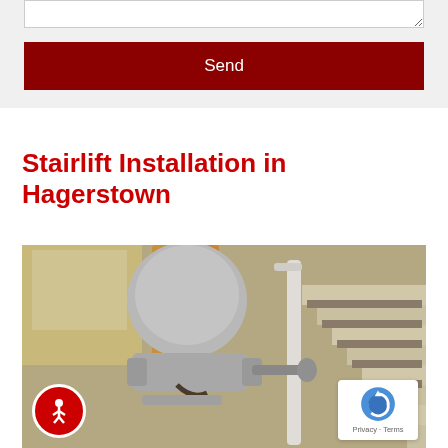[textarea form field]
Send
Stairlift Installation in Hagerstown
[Figure (photo): A stairlift chair mounted on a stair rail in a home interior with wooden banister, carpeted stairs, and natural light from a window. An accessibility icon (wheelchair figure in red circle) is visible in the bottom left, and a reCAPTCHA Privacy-Terms badge in the bottom right.]